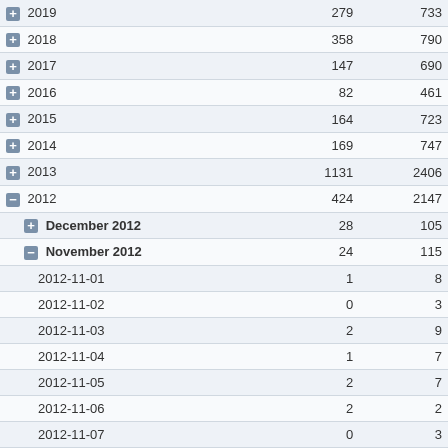| Period | Col1 | Col2 |
| --- | --- | --- |
| + 2019 | 279 | 733 |
| + 2018 | 358 | 790 |
| + 2017 | 147 | 690 |
| + 2016 | 82 | 461 |
| + 2015 | 164 | 723 |
| + 2014 | 169 | 747 |
| + 2013 | 1131 | 2406 |
| - 2012 | 424 | 2147 |
|   + December 2012 | 28 | 105 |
|   - November 2012 | 24 | 115 |
|     2012-11-01 | 1 | 8 |
|     2012-11-02 | 0 | 3 |
|     2012-11-03 | 2 | 9 |
|     2012-11-04 | 1 | 7 |
|     2012-11-05 | 2 | 7 |
|     2012-11-06 | 2 | 2 |
|     2012-11-07 | 0 | 3 |
|     2012-11-08 | 1 | 6 |
|     2012-11-09 | 0 | 4 |